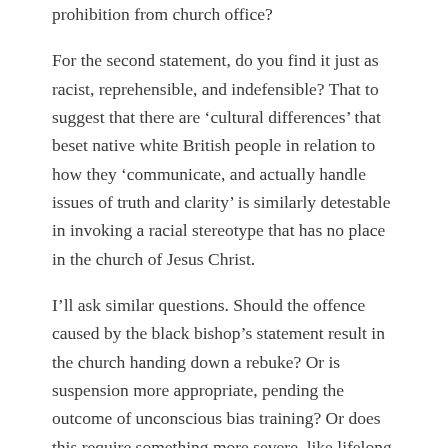prohibition from church office?
For the second statement, do you find it just as racist, reprehensible, and indefensible? That to suggest that there are ‘cultural differences’ that beset native white British people in relation to how they ‘communicate, and actually handle issues of truth and clarity’ is similarly detestable in invoking a racial stereotype that has no place in the church of Jesus Christ.
I’ll ask similar questions. Should the offence caused by the black bishop’s statement result in the church handing down a rebuke? Or is suspension more appropriate, pending the outcome of unconscious bias training? Or does this require something more severe, like lifelong prohibition from church office?
You might even suggest (based on Luke 12:48), that